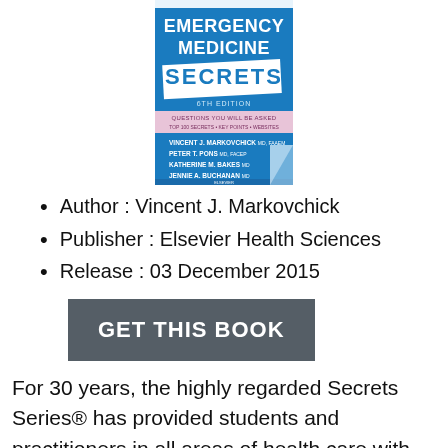[Figure (photo): Book cover of Emergency Medicine Secrets, 6th Edition by Vincent J. Markovchick et al., published by Elsevier Health Sciences]
Author : Vincent J. Markovchick
Publisher : Elsevier Health Sciences
Release : 03 December 2015
GET THIS BOOK
For 30 years, the highly regarded Secrets Series® has provided students and practitioners in all areas of health care with concise, focused, and engaging resources for quick reference and exam review. The 6th Edition of Emergency Medicine Secrets, by